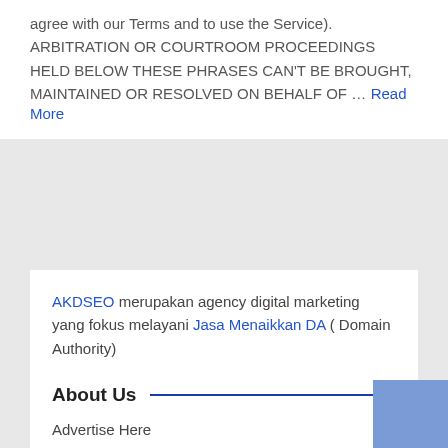agree with our Terms and to use the Service). ARBITRATION OR COURTROOM PROCEEDINGS HELD BELOW THESE PHRASES CAN'T BE BROUGHT, MAINTAINED OR RESOLVED ON BEHALF OF … Read More
AKDSEO merupakan agency digital marketing yang fokus melayani Jasa Menaikkan DA ( Domain Authority)
About Us
Advertise Here
Privacy Policy
Contact us
Sitemaps